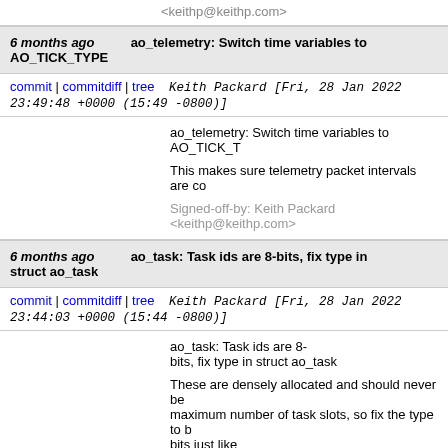<keithp@keithp.com>
6 months ago   ao_telemetry: Switch time variables to AO_TICK_TYPE
commit | commitdiff | tree   Keith Packard [Fri, 28 Jan 2022 23:49:48 +0000 (15:49 -0800)]
ao_telemetry: Switch time variables to AO_TICK_T

This makes sure telemetry packet intervals are co

Signed-off-by: Keith Packard <keithp@keithp.com>
6 months ago   ao_task: Task ids are 8-bits, fix type in struct ao_task
commit | commitdiff | tree   Keith Packard [Fri, 28 Jan 2022 23:44:03 +0000 (15:44 -0800)]
ao_task: Task ids are 8-bits, fix type in struct ao_task

These are densely allocated and should never be maximum number of task slots, so fix the type to b bits just like all other places where a task_id is used.

Signed-off-by: Keith Packard <keithp@keithp.com>